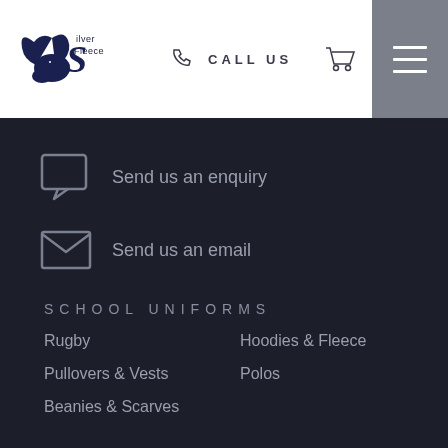[Figure (logo): Silver Fleece logo with ram and decorative S letterform in dark navy blue]
CALL US
Send us an enquiry
Send us an email
SCHOOL UNIFORMS
Rugby
Hoodies & Fleece
Pullovers & Vests
Polos
Beanies & Scarves